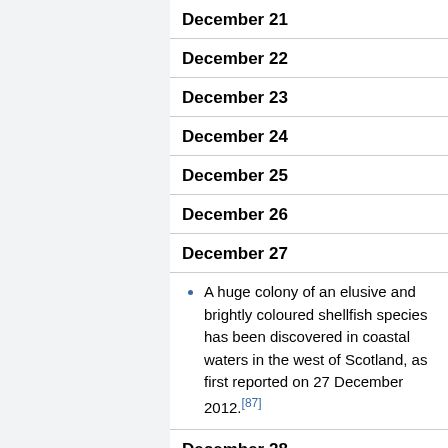December 21
December 22
December 23
December 24
December 25
December 26
December 27
A huge colony of an elusive and brightly coloured shellfish species has been discovered in coastal waters in the west of Scotland, as first reported on 27 December 2012.[87]
December 28
December 29